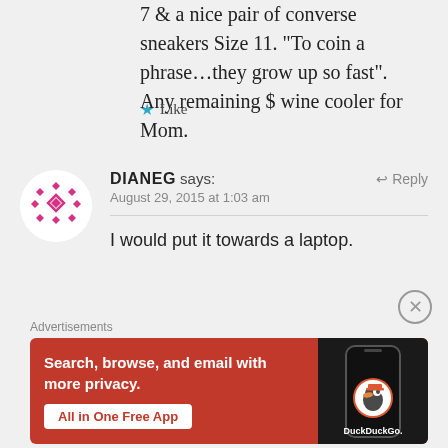7 & a nice pair of converse sneakers Size 11. “To coin a phrase…they grow up so fast”. Any remaining $ wine cooler for Mom.
★ Like
[Figure (illustration): Avatar image: circular white background with decorative geometric diamond/rhombus pattern in pink/magenta on white circle]
DIANEG says: August 29, 2015 at 1:03 am
I would put it towards a laptop.
Advertisements
[Figure (infographic): DuckDuckGo advertisement banner with orange-red background. Text: 'Search, browse, and email with more privacy. All in One Free App' with a phone showing DuckDuckGo logo on dark background.]